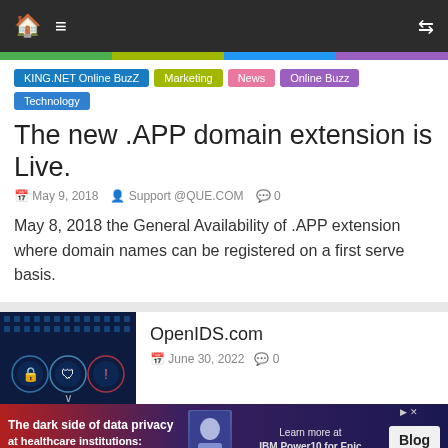Navigation bar with home, menu, and shuffle icons
KING.NET Online BuzZ
Marketing
News
Online Buzz
Technology
The new .APP domain extension is Live.
May 9, 2018   Support @QUE.COM   0
May 8, 2018 the General Availability of .APP extension where domain names can be registered on a first serve basis.
OpenIDS.com
June 30, 2022   0
The dark side of data privacy at healthcare institutions: the risks behind the scenes   Learn more at IBM Power10 for Epic   Blog